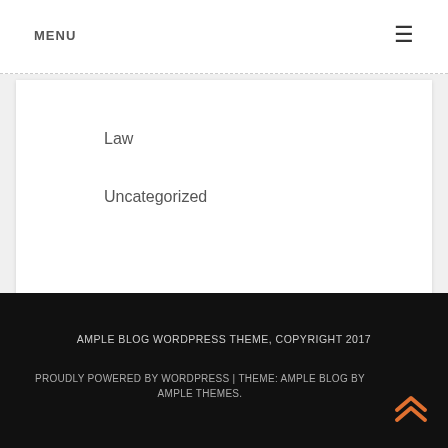MENU
Law
Uncategorized
AMPLE BLOG WORDPRESS THEME, COPYRIGHT 2017
PROUDLY POWERED BY WORDPRESS | THEME: AMPLE BLOG BY AMPLE THEMES.